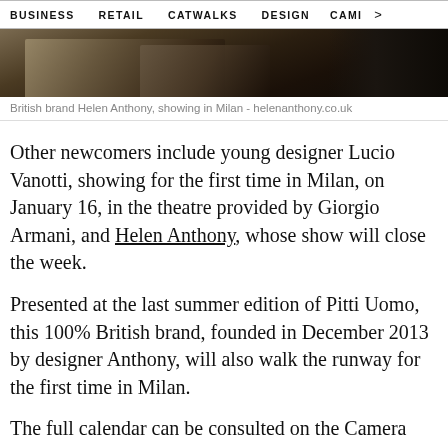BUSINESS   RETAIL   CATWALKS   DESIGN   CAMI  >
[Figure (photo): Bottom portion of a dark fashion editorial photo showing shoes/boots on a floor]
British brand Helen Anthony, showing in Milan - helenanthony.co.uk
Other newcomers include young designer Lucio Vanotti, showing for the first time in Milan, on January 16, in the theatre provided by Giorgio Armani, and Helen Anthony, whose show will close the week.
Presented at the last summer edition of Pitti Uomo, this 100% British brand, founded in December 2013 by designer Anthony, will also walk the runway for the first time in Milan.
The full calendar can be consulted on the Camera